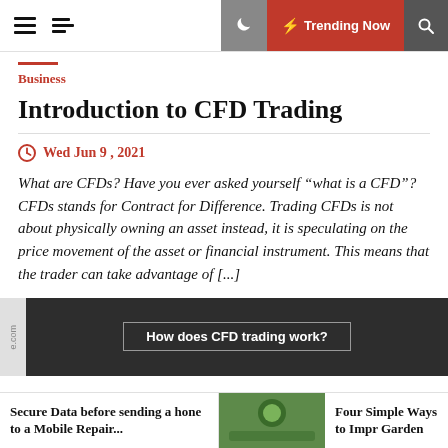Trending Now
Business
Introduction to CFD Trading
Wed Jun 9 , 2021
What are CFDs? Have you ever asked yourself “what is a CFD”? CFDs stands for Contract for Difference. Trading CFDs is not about physically owning an asset instead, it is speculating on the price movement of the asset or financial instrument. This means that the trader can take advantage of [...]
[Figure (screenshot): Dark banner image with button labeled 'How does CFD trading work?' and a vertical text strip on left reading 'e.com']
Secure Data before sending a hone to a Mobile Repair...
Four Simple Ways to Improve your Garden